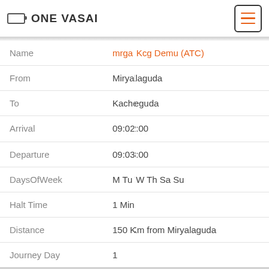ONE VASAI
| Field | Value |
| --- | --- |
| Name | mrga Kcg Demu (ATC) |
| From | Miryalaguda |
| To | Kacheguda |
| Arrival | 09:02:00 |
| Departure | 09:03:00 |
| DaysOfWeek | M Tu W Th Sa Su |
| Halt Time | 1 Min |
| Distance | 150 Km from Miryalaguda |
| Journey Day | 1 |
| Field | Value |
| --- | --- |
| No | 77674 |
| Name | kcg Mrga Dmu (ATC) |
| From | Kacheguda |